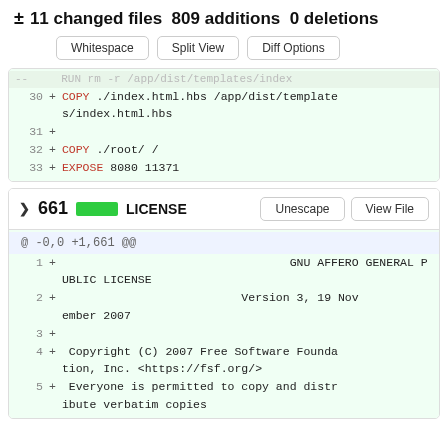± 11 changed files 809 additions 0 deletions
Whitespace | Split View | Diff Options (buttons)
30 + COPY ./index.html.hbs /app/dist/templates/index.html.hbs
31 +
32 + COPY ./root/ /
33 + EXPOSE 8080 11371
661  LICENSE   Unescape  View File
@ -0,0 +1,661 @@
1 + GNU AFFERO GENERAL PUBLIC LICENSE
2 + Version 3, 19 November 2007
3 +
4 + Copyright (C) 2007 Free Software Foundation, Inc. <https://fsf.org/>
5 + Everyone is permitted to copy and distribute verbatim copies